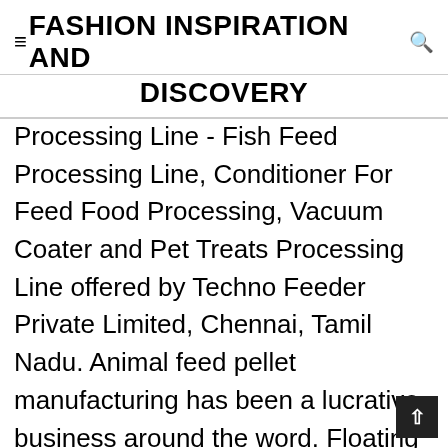FASHION INSPIRATION AND DISCOVERY
Processing Line - Fish Feed Processing Line, Conditioner For Feed Food Processing, Vacuum Coater and Pet Treats Processing Line offered by Techno Feeder Private Limited, Chennai, Tamil Nadu. Animal feed pellet manufacturing has been a lucrative business around the word. Floating and sinking feed pellet can be produced. Many have noticed the business potential to make feed pellets for livestock and poultry, but, few knew that it also has great demand for aquatic feed pellets. Feed and